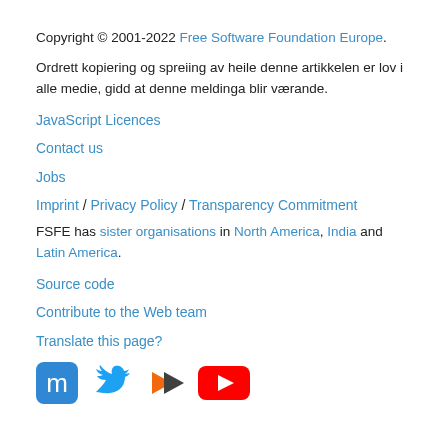Copyright © 2001-2022 Free Software Foundation Europe.
Ordrett kopiering og spreiing av heile denne artikkelen er lov i alle medie, gidd at denne meldinga blir værande.
JavaScript Licences
Contact us
Jobs
Imprint / Privacy Policy / Transparency Commitment
FSFE has sister organisations in North America, India and Latin America.
Source code
Contribute to the Web team
Translate this page?
[Figure (illustration): Social media icons: Mastodon, Twitter, PeerTube, YouTube]